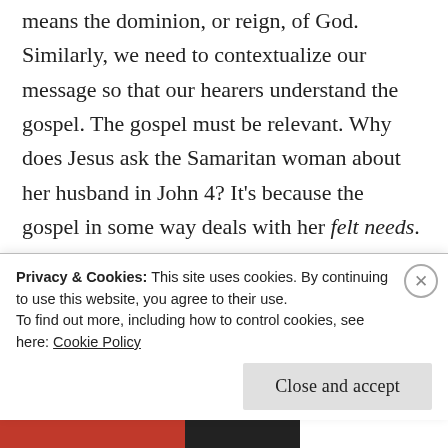means the dominion, or reign, of God. Similarly, we need to contextualize our message so that our hearers understand the gospel. The gospel must be relevant. Why does Jesus ask the Samaritan woman about her husband in John 4? It's because the gospel in some way deals with her felt needs. This does not mean, however, that we tailor the gospel to make it more palatable to others. We must not give the false impression that the gospel is about satisfying people's felt needs, because often people are
Privacy & Cookies: This site uses cookies. By continuing to use this website, you agree to their use.
To find out more, including how to control cookies, see here: Cookie Policy
Close and accept